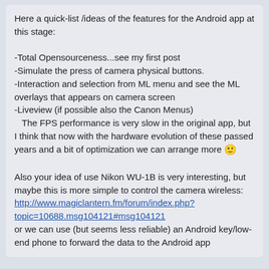Here a quick-list /ideas of the features for the Android app at this stage:

-Total Opensourceness...see my first post
-Simulate the press of camera physical buttons.
-Interaction and selection from ML menu and see the ML overlays that appears on camera screen
-Liveview (if possible also the Canon Menus)
   The FPS performance is very slow in the original app, but I think that now with the hardware evolution of these passed years and a bit of optimization we can arrange more 🙂

Also your idea of use Nikon WU-1B is very interesting, but maybe this is more simple to control the camera wireless:
http://www.magiclantern.fm/forum/index.php?topic=10688.msg104121#msg104121
or we can use (but seems less reliable) an Android key/low-end phone to forward the data to the Android app
General Development / Re: PicoC -> TCC
« on: March 19, 2014, 10:32:46 AM »
Not sure. 🤔 Is the old PicoC APIs already available to test with new TCC scripting engine?
I think it could be a good start point.